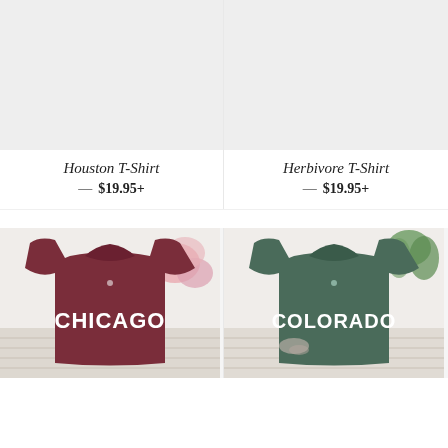[Figure (photo): Placeholder light gray image for Houston T-Shirt product]
[Figure (photo): Placeholder light gray image for Herbivore T-Shirt product]
Houston T-Shirt
— $19.95+
Herbivore T-Shirt
— $19.95+
[Figure (photo): Maroon Chicago T-Shirt with bold white CHICAGO text, styled with pink flowers on wooden background]
[Figure (photo): Dark green Colorado T-Shirt with bold white COLORADO text, styled with plants on wooden background]